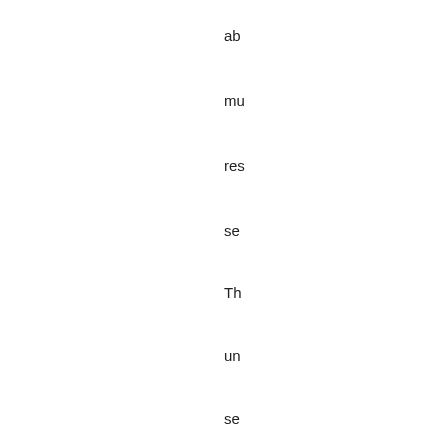ab
mu
res
se
Th
un
se
Th
'op
for
all
to
co
in'
se
Th